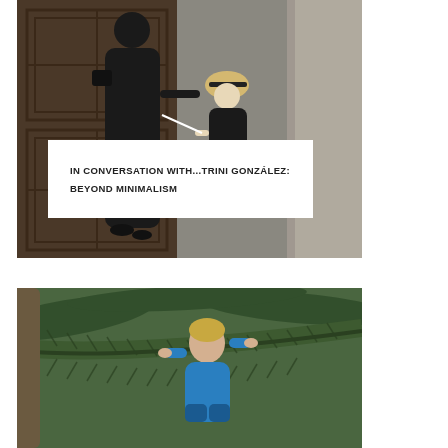[Figure (photo): Woman in black maxi dress and child in black dress with white hat, standing in front of an ornate wooden door and stone column on a street.]
IN CONVERSATION WITH...TRINI GONZÁLEZ: BEYOND MINIMALISM
[Figure (photo): Young child in a blue long-sleeve swimsuit climbing on large palm tree fronds in a tropical setting.]